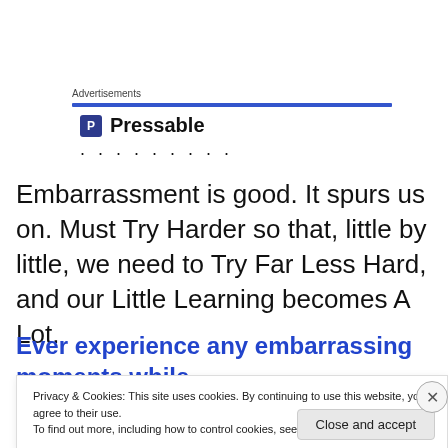Advertisements
[Figure (logo): Pressable logo with blue P icon and dotted line below]
Embarrassment is good. It spurs us on. Must Try Harder so that, little by little, we need to Try Far Less Hard, and our Little Learning becomes A Lot.
Ever experience any embarrassing moments while
Privacy & Cookies: This site uses cookies. By continuing to use this website, you agree to their use.
To find out more, including how to control cookies, see here: Cookie Policy
Close and accept